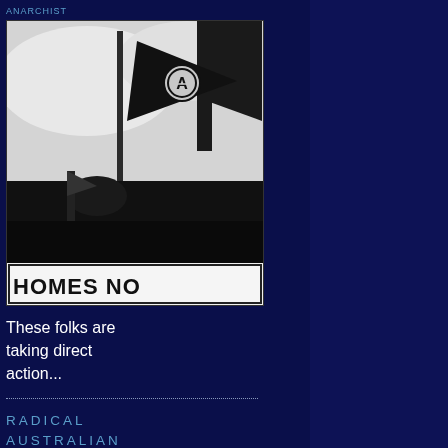ANARCHIST
[Figure (photo): Black and white protest photo showing anarchist flag with circle-A symbol and another flag being raised, with text 'HOMES NO' visible at the bottom]
These folks are taking direct action...
RADICAL AUSTRALIAN PERSPECTIVES ON LAW